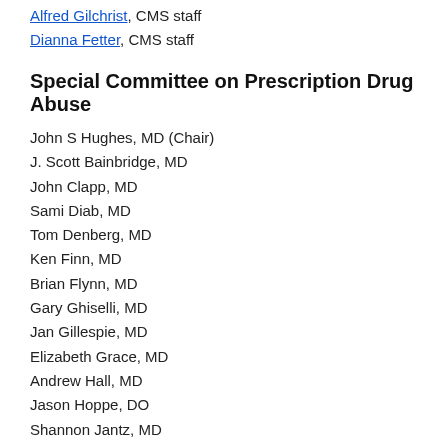Alfred Gilchrist, CMS staff
Dianna Fetter, CMS staff
Special Committee on Prescription Drug Abuse
John S Hughes, MD (Chair)
J. Scott Bainbridge, MD
John Clapp, MD
Sami Diab, MD
Tom Denberg, MD
Ken Finn, MD
Brian Flynn, MD
Gary Ghiselli, MD
Jan Gillespie, MD
Elizabeth Grace, MD
Andrew Hall, MD
Jason Hoppe, DO
Shannon Jantz, MD
Ellie Jensen, DO
Robin Johnson, MD
Stuart Kassan, MD
Rebecca Knight, MD
Tom Kurt, MD
Alan Lembitz, MD
Elizabeth Lowdermilk, MD
Richard May, MD
Cyrus Mirshab, MD
Kathryn Mueller, MD